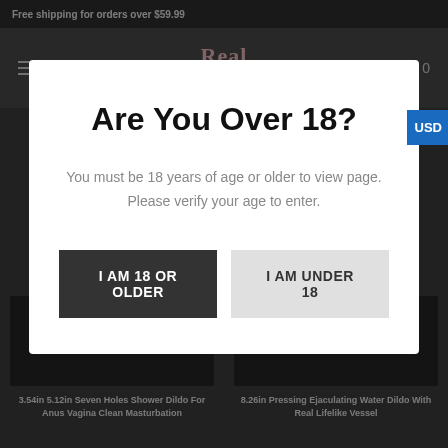Free shipping for orders over $59.99
[Figure (logo): Real Dildos website logo with stylized text]
Are You Over 18?
You must be 18 years of age or older to view page. Please verify your age to enter.
I AM 18 OR OLDER
I AM UNDER 18
USD
3.54in 5.12in Seven Holes Shower Dildo For Anus Vagina Clean Masturbation
8.26in Pressing Ejaculating Water Dildo With Real Lifelike Vessel